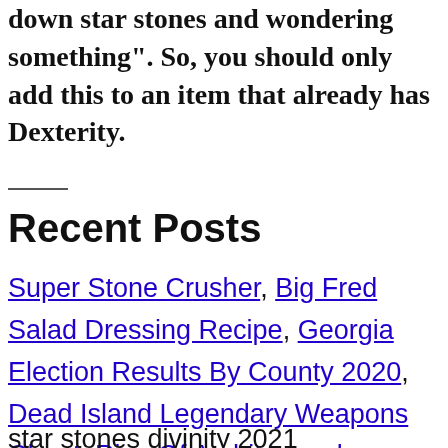a GameFAQs message board topic titled "tracking down star stones and wondering something". So, you should only add this to an item that already has Dexterity.
Recent Posts
Super Stone Crusher, Big Fred Salad Dressing Recipe, Georgia Election Results By County 2020, Dead Island Legendary Weapons Cheat, Ring Of Architectural Mastery,
star stones divinity 2021